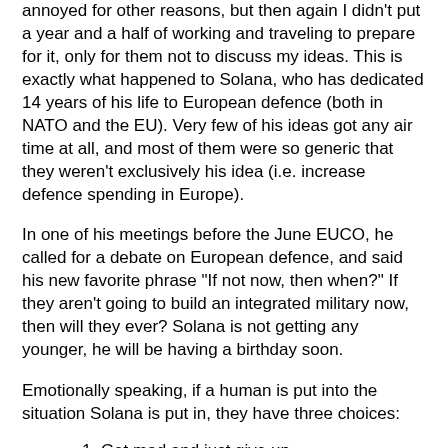annoyed for other reasons, but then again I didn't put a year and a half of working and traveling to prepare for it, only for them not to discuss my ideas. This is exactly what happened to Solana, who has dedicated 14 years of his life to European defence (both in NATO and the EU). Very few of his ideas got any air time at all, and most of them were so generic that they weren't exclusively his idea (i.e. increase defence spending in Europe).
In one of his meetings before the June EUCO, he called for a debate on European defence, and said his new favorite phrase "If not now, then when?" If they aren't going to build an integrated military now, then will they ever? Solana is not getting any younger, he will be having a birthday soon.
Emotionally speaking, if a human is put into the situation Solana is put in, they have three choices:
1. Get mad and just give up
2. Wait around for another opportune time, then try again
3. Get mad, and try even harder.
#Of course Solana's situation is not a question. After all, he has a nice...